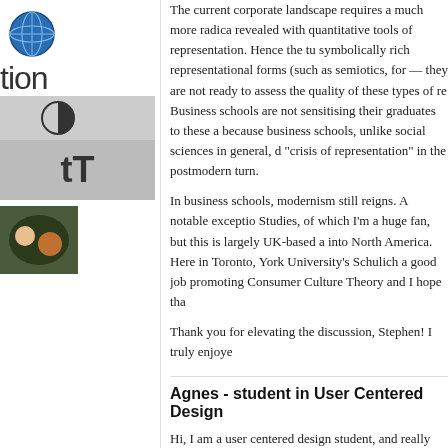The current corporate landscape requires a much more radical... revealed with quantitative tools of representation. Hence the tu... symbolically rich representational forms (such as semiotics, fo... — they are not ready to assess the quality of these types of re... Business schools are not sensitising their graduates to these a... because business schools, unlike social sciences in general, d... "crisis of representation" in the postmodern turn.
In business schools, modernism still reigns. A notable exceptio... Studies, of which I'm a huge fan, but this is largely UK-based a... into North America. Here in Toronto, York University's Schulich... a good job promoting Consumer Culture Theory and I hope tha...
Thank you for elevating the discussion, Stephen! I truly enjoye...
Agnes - student in User Centered Design
Hi, I am a user centered design student, and really found this post i... I was interested in the point that you made about time: you said tha... towards the past, while companies are more present/future oriented... I see this really happening in the case of design, where we're alway... products of the future, and so on.
I am currently working on a project to try and reuse old user researc... contexts, and I would like to ask you: how would you see an enga...